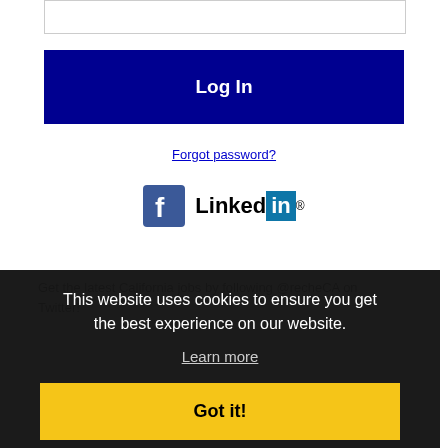[Figure (screenshot): Input text field (password or username field) at top of login form]
Log In
Forgot password?
[Figure (logo): Facebook and LinkedIn social login icons/logos]
Get the latest California jobs by following @recheCA on Twitter!
This website uses cookies to ensure you get the best experience on our website.
Learn more
Got it!